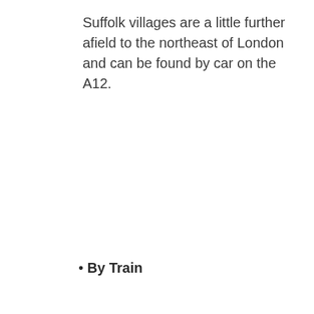Suffolk villages are a little further afield to the northeast of London and can be found by car on the A12.
• By Train